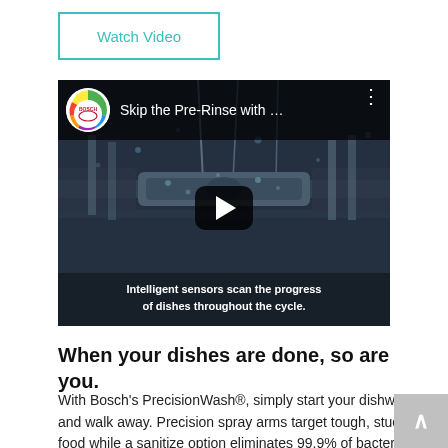Watch Video
[Figure (screenshot): YouTube-style embedded video thumbnail for Bosch dishwasher 'Skip the Pre-Rinse with …' video, showing a close-up of dishwasher rack with water spray, play button overlay, and text overlay reading 'Intelligent sensors scan the progress of dishes throughout the cycle.']
When your dishes are done, so are you.
With Bosch's PrecisionWash®, simply start your dishwasher and walk away. Precision spray arms target tough, stuck-on food while a sanitize option eliminates 99.9% of bacteria for a reliable clean.